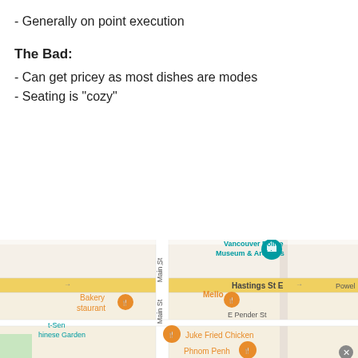- Generally on point execution
The Bad:
- Can get pricey as most dishes are modes
- Seating is "cozy"
[Figure (map): Google Maps screenshot showing the area around Main St and Hastings St E in Vancouver. Points of interest visible: Vancouver Police Museum & Archives (teal pin), Mello (orange restaurant pin), Bakery/restaurant (orange restaurant pin), Dr. Sun Yat-Sen Chinese Garden (teal label), Juke Fried Chicken (orange restaurant pin), Phnom Penh (orange restaurant pin). Streets labeled: Main St (vertical), Hastings St E (horizontal, yellow), E Pender St, Powell.]